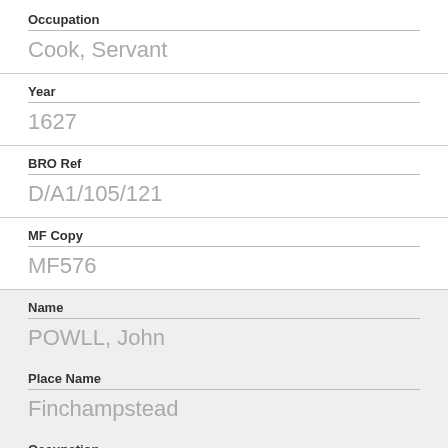Occupation
Cook, Servant
Year
1627
BRO Ref
D/A1/105/121
MF Copy
MF576
Name
POWLL, John
Place Name
Finchampstead
Occupation